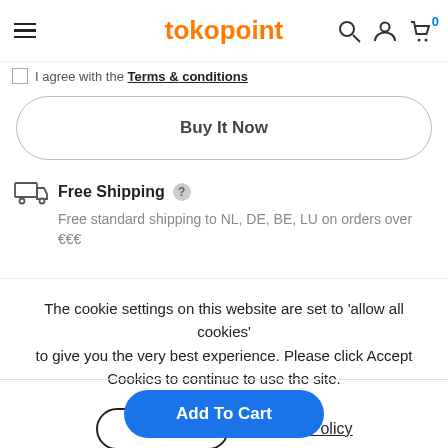tokopoint
I agree with the Terms & conditions
Buy It Now
Free Shipping
Free standard shipping to NL, DE, BE, LU on orders over €€€
The cookie settings on this website are set to 'allow all cookies' to give you the very best experience. Please click Accept Cookies to continue to use the site.
Accept
Privacy Policy
Add To Cart